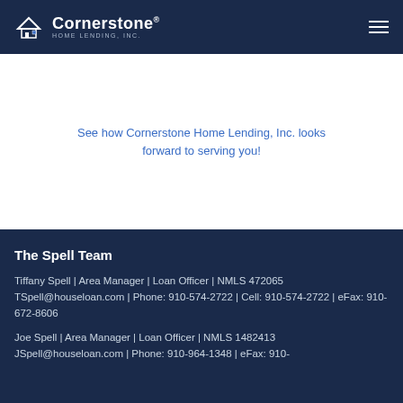Cornerstone HOME LENDING, INC.
See how Cornerstone Home Lending, Inc. looks forward to serving you!
The Spell Team
Tiffany Spell | Area Manager | Loan Officer | NMLS 472065
TSpell@houseloan.com | Phone: 910-574-2722 | Cell: 910-574-2722 | eFax: 910-672-8606
Joe Spell | Area Manager | Loan Officer | NMLS 1482413
JSpell@houseloan.com | Phone: 910-964-1348 | eFax: 910-